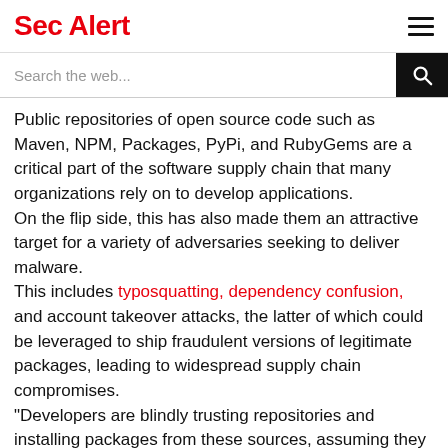Sec Alert
Search the web...
Public repositories of open source code such as Maven, NPM, Packages, PyPi, and RubyGems are a critical part of the software supply chain that many organizations rely on to develop applications.
On the flip side, this has also made them an attractive target for a variety of adversaries seeking to deliver malware.
This includes typosquatting, dependency confusion, and account takeover attacks, the latter of which could be leveraged to ship fraudulent versions of legitimate packages, leading to widespread supply chain compromises.
"Developers are blindly trusting repositories and installing packages from these sources, assuming they are secure."